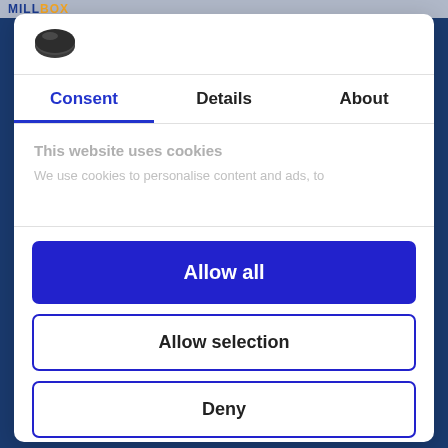[Figure (logo): MILLBOX logo in blue and orange text at top]
[Figure (logo): Cookie consent tool icon - dark oval cookie shape]
Consent | Details | About
This website uses cookies
We use cookies to personalise content and ads, to
Allow all
Allow selection
Deny
Powered by Cookiebot by Usercentrics